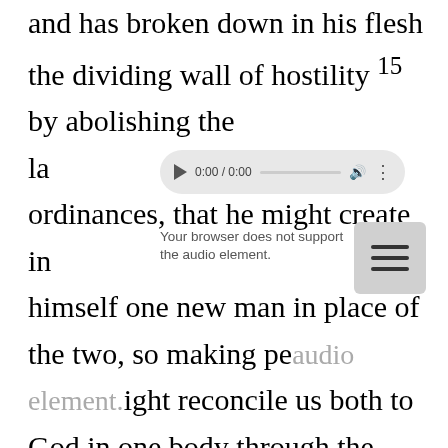and has broken down in his flesh the dividing wall of hostility 15 by abolishing the la[w of commandments expresse]d in ordinances, that he might create in himself one new man in place of the two, so making peace, 16 and might reconcile us both to God in one body through the cross, thereby killing the hostility. 17 And he came and preached peace to you who were far off and peace to those who were near. 18 For through him we both have access in one Spirit to the Father. So
[Figure (screenshot): An audio player UI element showing 0:00 / 0:00 time display with play button, progress bar, volume icon, and options dots. Below it shows text: 'Your browser does not support the audio element.' A hamburger menu button appears to the right.]